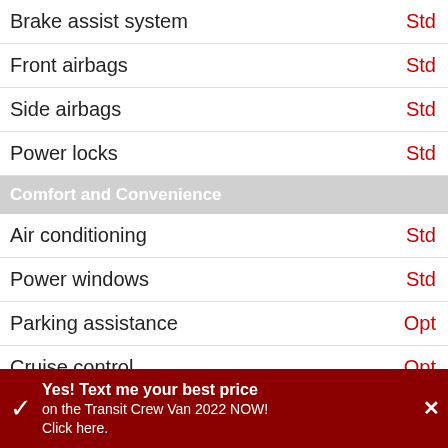Brake assist system — Std
Front airbags — Std
Side airbags — Std
Power locks — Std
Comfort and Convenience
Air conditioning — Std
Power windows — Std
Parking assistance — Opt
Cruise control — Opt
Audio and Communication
1 ... Front. Fixed Antenna. Radio w/Seek-Steering Wheel Controls and External Memory Control. Radio: AM/FM Stereo -inc: 4" multi-function display, Bluetooth, dual USB ports and 4 ... Radio. Wireless Phone. Connectivity
[Figure (other): VALUE YOUR TRADE! button overlay (red rounded rectangle with circular icon and text)]
Yes! Text me your best price on the Transit Crew Van 2022 NOW! Click here.